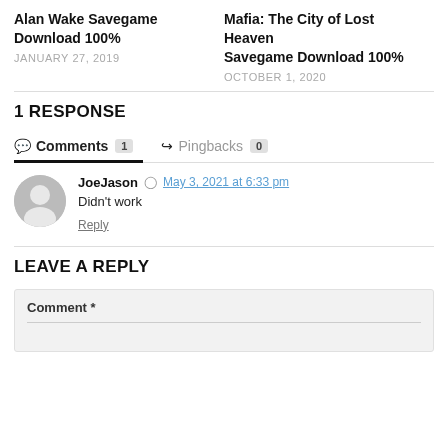Alan Wake Savegame Download 100%
JANUARY 27, 2019
Mafia: The City of Lost Heaven Savegame Download 100%
OCTOBER 1, 2020
1 RESPONSE
Comments 1   Pingbacks 0
JoeJason   May 3, 2021 at 6:33 pm
Didn't work
Reply
LEAVE A REPLY
Comment *